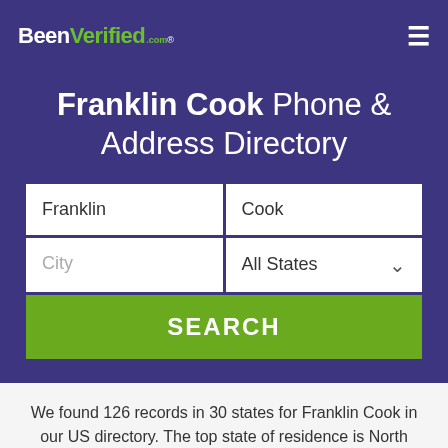BeenVerified.com
Franklin Cook Phone & Address Directory
[Figure (screenshot): Search form with fields: Franklin, Cook, City, All States dropdown, and a SEARCH button]
We found 126 records in 30 states for Franklin Cook in our US directory. The top state of residence is North Carolina, followed